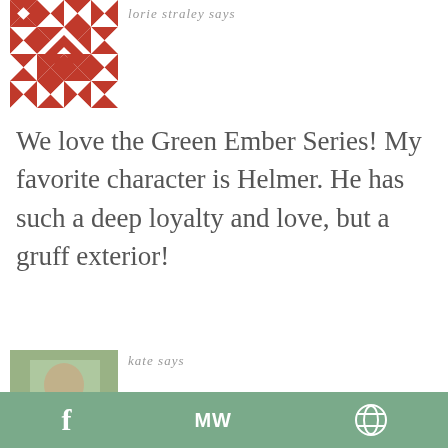[Figure (illustration): Red and white geometric quilt-pattern avatar for user lorie straley]
lorie straley says
We love the Green Ember Series! My favorite character is Helmer. He has such a deep loyalty and love, but a gruff exterior!
Reply
[Figure (photo): Partial photo avatar for user kate, showing a person outdoors]
kate says
f  MW